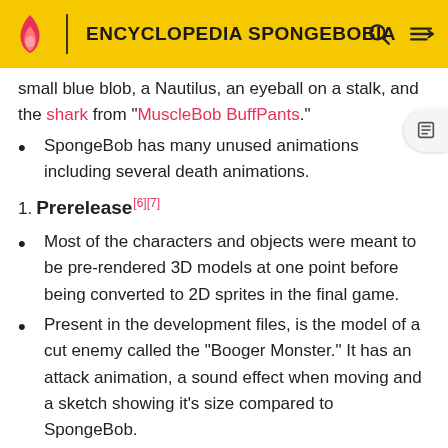ENCYCLOPEDIA SPONGEBOBIA
small blue blob, a Nautilus, an eyeball on a stalk, and the shark from "MuscleBob BuffPants."
SpongeBob has many unused animations including several death animations.
1. Prerelease[6][7]
Most of the characters and objects were meant to be pre-rendered 3D models at one point before being converted to 2D sprites in the final game.
Present in the development files, is the model of a cut enemy called the "Booger Monster." It has an attack animation, a sound effect when moving and a sketch showing it's size compared to SpongeBob.
The theme was originally going to be the normal SpongeBob SquarePants Theme Song, using the PlayStation instruments. The options menu music